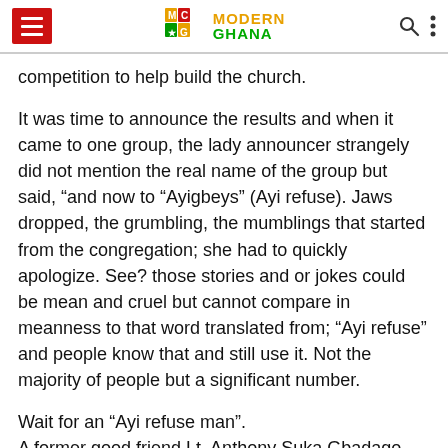Modern Ghana
competition to help build the church.
It was time to announce the results and when it came to one group, the lady announcer strangely did not mention the real name of the group but said, “and now to “Ayigbeys” (Ayi refuse). Jaws dropped, the grumbling, the mumblings that started from the congregation; she had to quickly apologize. See? those stories and or jokes could be mean and cruel but cannot compare in meanness to that word translated from; “Ayi refuse” and people know that and still use it. Not the majority of people but a significant number.
Wait for an “Ayi refuse man”.
A former good friend Lt. Anthony Suka Gbadago had just been accepted into the Military Academy circa